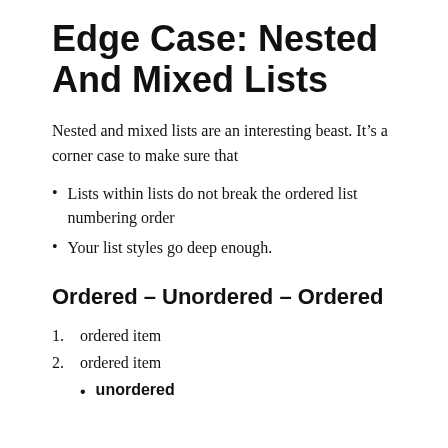Edge Case: Nested And Mixed Lists
Nested and mixed lists are an interesting beast. It’s a corner case to make sure that
Lists within lists do not break the ordered list numbering order
Your list styles go deep enough.
Ordered – Unordered – Ordered
ordered item
ordered item
unordered